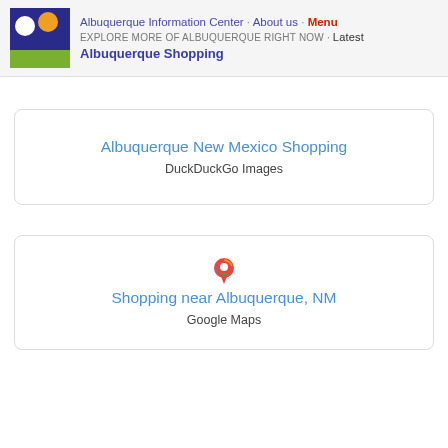Albuquerque Information Center · About us · Menu
EXPLORE MORE OF ALBUQUERQUE RIGHT NOW · Latest
Albuquerque Shopping
[Figure (other): Card with link title 'Albuquerque New Mexico Shopping' and subtitle 'DuckDuckGo Images']
[Figure (other): Card with Google Maps pin icon, link title 'Shopping near Albuquerque, NM' and subtitle 'Google Maps']